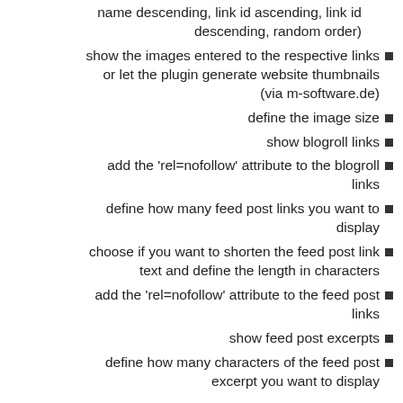select the item order (link name ascending, link name descending, link id ascending, link id descending, random order)
show the images entered to the respective links or let the plugin generate website thumbnails (via m-software.de)
define the image size
show blogroll links
add the 'rel=nofollow' attribute to the blogroll links
define how many feed post links you want to display
choose if you want to shorten the feed post link text and define the length in characters
add the 'rel=nofollow' attribute to the feed post links
show feed post excerpts
define how many characters of the feed post excerpt you want to display